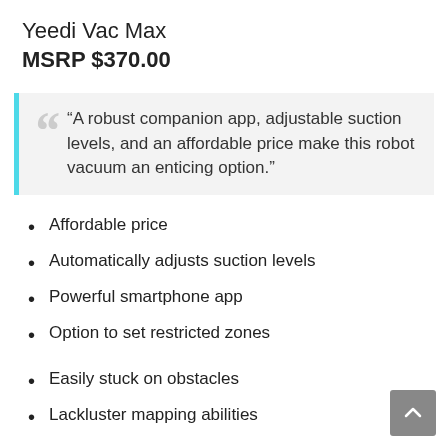Yeedi Vac Max
MSRP $370.00
“A robust companion app, adjustable suction levels, and an affordable price make this robot vacuum an enticing option.”
Affordable price
Automatically adjusts suction levels
Powerful smartphone app
Option to set restricted zones
Easily stuck on obstacles
Lackluster mapping abilities